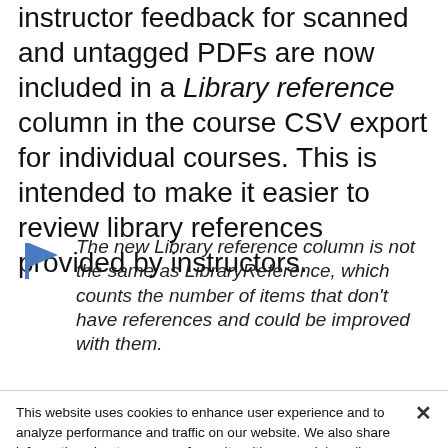instructor feedback for scanned and untagged PDFs are now included in a Library reference column in the course CSV export for individual courses. This is intended to make it easier to review library references provided by instructors.
The new Library reference column is not the same as LibraryReference, which counts the number of items that don't have references and could be improved with them.
This website uses cookies to enhance user experience and to analyze performance and traffic on our website. We also share information about your use of our site with our social media, advertising and analytics partners. Cookie Statement
Do Not Sell My Personal Information
Accept Cookies